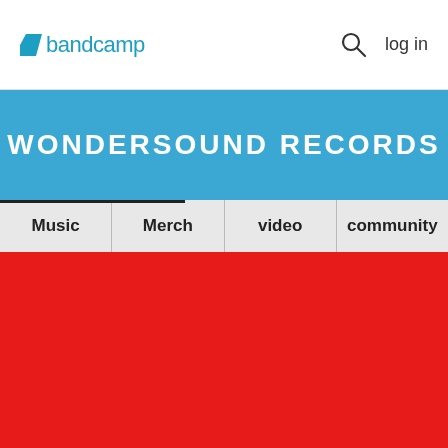bandcamp  log in
WONDERSOUND RECORDS
Music | Merch | video | community
[Figure (other): Large red rectangle image area, content of album art or banner]